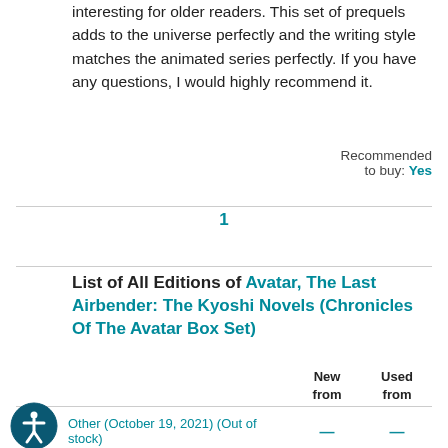interesting for older readers. This set of prequels adds to the universe perfectly and the writing style matches the animated series perfectly. If you have any questions, I would highly recommend it.
Recommended to buy: Yes
1
List of All Editions of Avatar, The Last Airbender: The Kyoshi Novels (Chronicles Of The Avatar Box Set)
|  | New from | Used from |
| --- | --- | --- |
| Other (October 19, 2021) (Out of stock) | — | — |